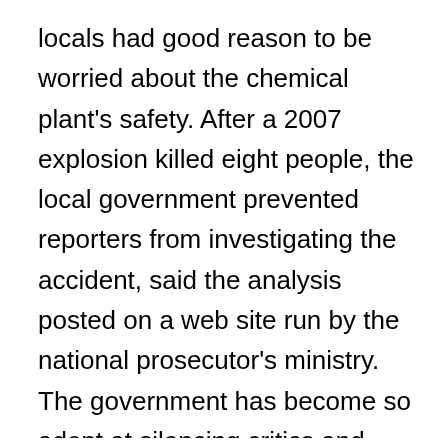locals had good reason to be worried about the chemical plant's safety. After a 2007 explosion killed eight people, the local government prevented reporters from investigating the accident, said the analysis posted on a web site run by the national prosecutor's ministry.
The government has become so adept at silencing critics and suppressing protests, starting with the Tiananmen Square democracy movement in 1989, that scholars worry that it is becoming a well-worn tool. When that happens, police states can tire, and Claremont McKenna's Pei said, regimes that look very stable sometimes collapse, like the communist bloc in Europe in 1989, Indonesia a decade later and